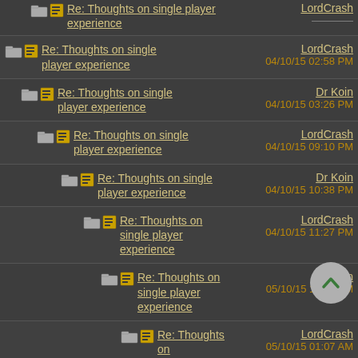Re: Thoughts on single player experience — LordCrash — 04/10/15 02:58 PM
Re: Thoughts on single player experience — Dr Koin — 04/10/15 03:26 PM
Re: Thoughts on single player experience — LordCrash — 04/10/15 09:10 PM
Re: Thoughts on single player experience — Dr Koin — 04/10/15 10:38 PM
Re: Thoughts on single player experience — LordCrash — 04/10/15 11:27 PM
Re: Thoughts on single player experience — Dr Koin — 05/10/15 12:22 AM
Re: Thoughts on single player experience — LordCrash — 05/10/15 01:07 AM
Re: Thoughts on single player experience — Lacrymas — 04/10/15 04:1? PM
Re: Thoughts on single player experience — Dr Koin — 04/10/15 06:35 PM